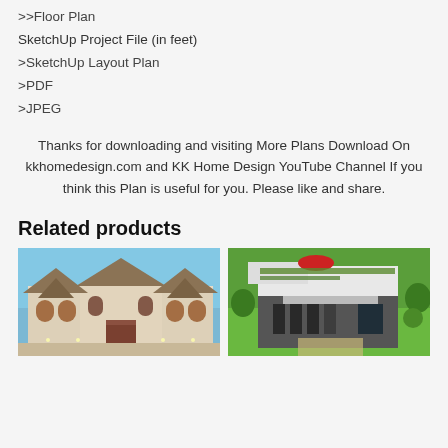>Floor Plan
SketchUp Project File (in feet)
>SketchUp Layout Plan
>PDF
>JPEG
Thanks for downloading and visiting More Plans Download On kkhomedesign.com and KK Home Design YouTube Channel If you think this Plan is useful for you. Please like and share.
Related products
[Figure (photo): Front exterior view of a traditional two-story beige/cream house with arched windows and decorative gable rooflines]
[Figure (photo): Aerial/isometric view of a modern two-story flat-roof house with green landscaping and rooftop garden]